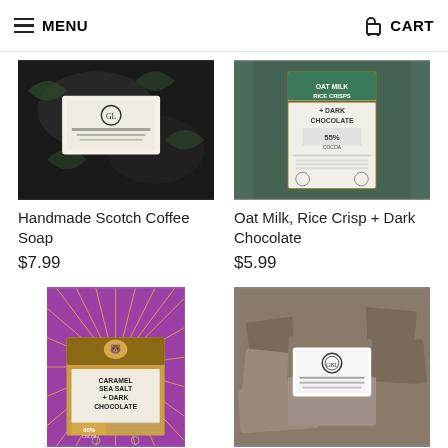MENU   CART
[Figure (photo): Handmade Scotch Coffee Soap bars, dark swirled soap with label]
Handmade Scotch Coffee Soap
$7.99
[Figure (photo): Oat Milk Rice Crisps + Dark Chocolate bar 55% cocoa packaging]
Oat Milk, Rice Crisp + Dark Chocolate
$5.99
[Figure (photo): Caramel Sea Salt + Dark Chocolate bar 60% cocoa purple packaging]
Caramel, Sea Salt + Dark Chocolate
[Figure (photo): Handmade Espresso Coffee Soap bars stacked with label]
Handmade Espresso Coffee Soap
★★★★★